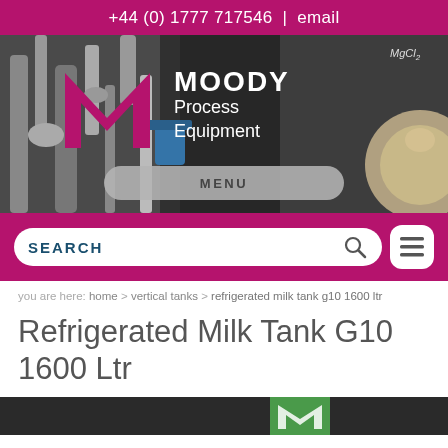+44 (0) 1777 717546  |  email
[Figure (photo): Moody Process Equipment banner with industrial equipment/pipes background and branded logo with pink M symbol and white MOODY Process Equipment text. Grey rounded MENU button at bottom.]
SEARCH
you are here: home > vertical tanks > refrigerated milk tank g10 1600 ltr
Refrigerated Milk Tank G10 1600 Ltr
[Figure (photo): Partial view of refrigerated milk tank product image with green badge/logo partially visible at right edge]